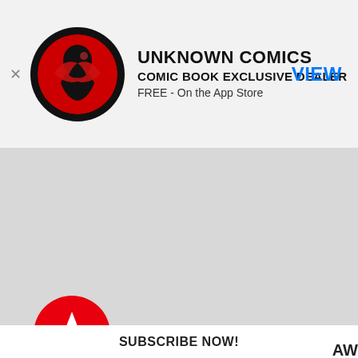[Figure (logo): Unknown Comics circular logo with red and black design showing a figure]
UNKNOWN COMICS
COMIC BOOK EXCLUSIVE DEALER
FREE - On the App Store
VIEW
[Figure (illustration): Large grey content area placeholder]
[Figure (illustration): Red circle with white star icon - subscribe button]
SUBSCRIBE NOW!
AW